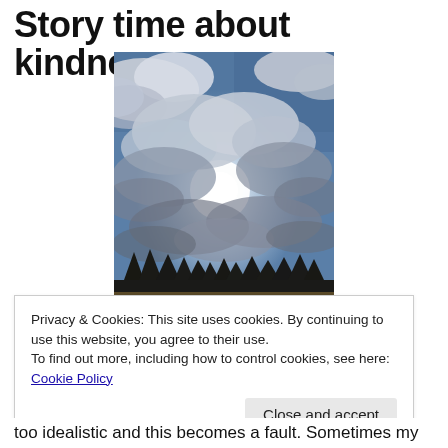Story time about kindness.
[Figure (photo): Photograph of a dramatic sky with large cumulus clouds and sun breaking through, above a dark silhouetted treeline and field at the bottom.]
Privacy & Cookies: This site uses cookies. By continuing to use this website, you agree to their use.
To find out more, including how to control cookies, see here: Cookie Policy
[Close and accept]
too idealistic and this becomes a fault. Sometimes my